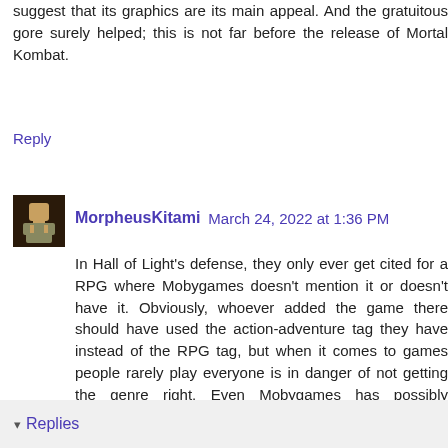suggest that its graphics are its main appeal. And the gratuitous gore surely helped; this is not far before the release of Mortal Kombat.
Reply
MorpheusKitami  March 24, 2022 at 1:36 PM
In Hall of Light's defense, they only ever get cited for a RPG where Mobygames doesn't mention it or doesn't have it. Obviously, whoever added the game there should have used the action-adventure tag they have instead of the RPG tag, but when it comes to games people rarely play everyone is in danger of not getting the genre right. Even Mobygames has possibly hundreds of titles under the wrong genre because nobody played them before checking. You've seen it several times yourself.
(yes, I also know that the reason for this whole hub-drub is Space Hulk, no I'm not defending that)
Reply
▾  Replies